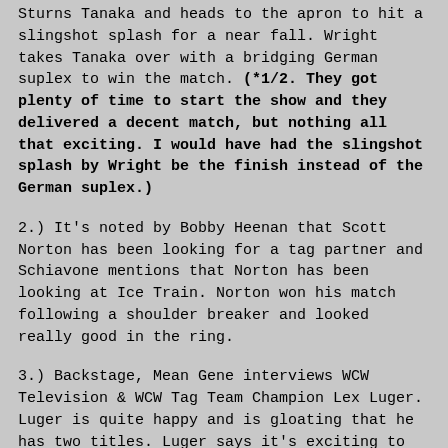Sturns Tanaka and heads to the apron to hit a slingshot splash for a near fall. Wright takes Tanaka over with a bridging German suplex to win the match. (*1/2. They got plenty of time to start the show and they delivered a decent match, but nothing all that exciting. I would have had the slingshot splash by Wright be the finish instead of the German suplex.)
2.) It's noted by Bobby Heenan that Scott Norton has been looking for a tag partner and Schiavone mentions that Norton has been looking at Ice Train. Norton won his match following a shoulder breaker and looked really good in the ring.
3.) Backstage, Mean Gene interviews WCW Television & WCW Tag Team Champion Lex Luger. Luger is quite happy and is gloating that he has two titles. Luger says it's exciting to be him right now. Gene asks what Luger is doing with his hair and Luger says he's growing it out. Luger says all the belts are coming around his waist and shoulder. Luger is coming for all of them and he can be called "Champ".
4.) It's quite obvious that this match for Luger was taped prior to winning two titles and he looks different than he did in the promo earlier with Gene.
5.) Backstage, Mean Gene interviews Jim Duggan. Duggan is here to talk